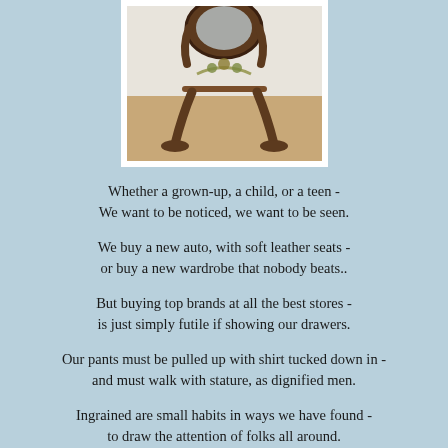[Figure (photo): A wooden dressing mirror with ornate carved frame on stand, placed on a hardwood floor against a light wall.]
Whether a grown-up, a child, or a teen -
We want to be noticed, we want to be seen.

We buy a new auto, with soft leather seats -
or buy a new wardrobe that nobody beats..

But buying top brands at all the best stores -
is just simply futile if showing our drawers.

Our pants must be pulled up with shirt tucked down in -
and must walk with stature, as dignified men.

Ingrained are small habits in ways we have found -
to draw the attention of folks all around.